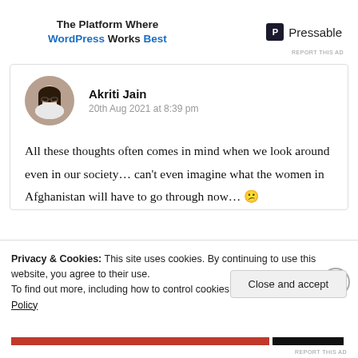[Figure (infographic): Pressable WordPress ad banner with text 'The Platform Where WordPress Works Best' and Pressable logo]
REPORT THIS AD
[Figure (photo): Circular avatar photo of Akriti Jain]
Akriti Jain
20th Aug 2021 at 8:39 pm
All these thoughts often comes in mind when we look around even in our society… can't even imagine what the women in Afghanistan will have to go through now… 😕
Privacy & Cookies: This site uses cookies. By continuing to use this website, you agree to their use.
To find out more, including how to control cookies, see here: Cookie Policy
Close and accept